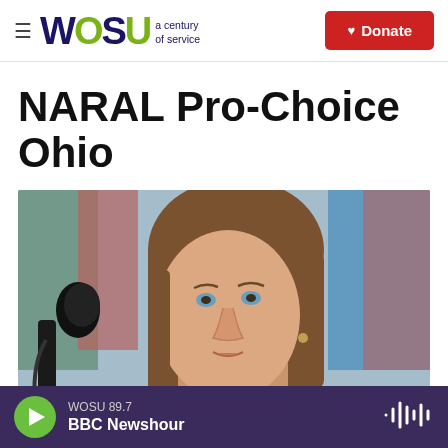WOSU a century of service | Donate
NARAL Pro-Choice Ohio
[Figure (photo): Woman with long brown hair speaking at a microphone outdoors, with colorful flags in the background]
WOSU 89.7 | BBC Newshour